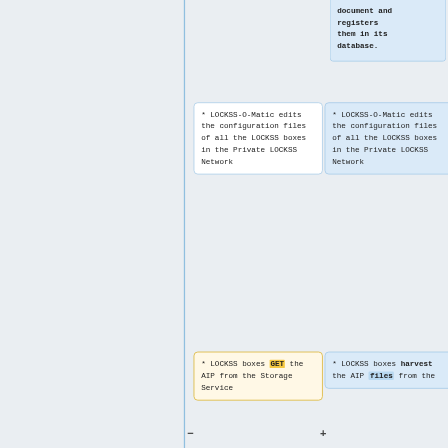document and registers them in its database.
* LOCKSS-O-Matic edits the configuration files of all the LOCKSS boxes in the Private LOCKSS Network
* LOCKSS-O-Matic edits the configuration files of all the LOCKSS boxes in the Private LOCKSS Network
* LOCKSS boxes GET the AIP from the Storage Service
* LOCKSS boxes harvest the AIP files from the